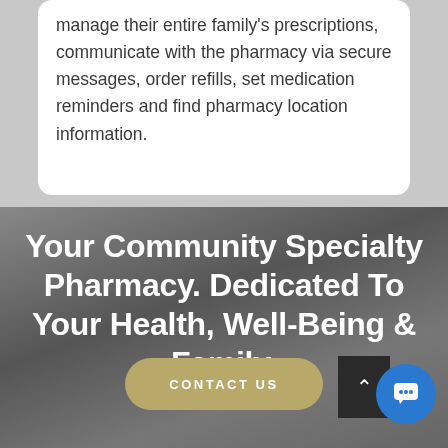manage their entire family's prescriptions, communicate with the pharmacy via secure messages, order refills, set medication reminders and find pharmacy location information.
Your Community Specialty Pharmacy. Dedicated To Your Health, Well-Being & Family.
CONTACT US